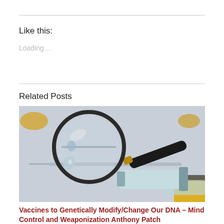Like this:
Loading...
Related Posts
[Figure (photo): A magnifying glass and a syringe with yellow liquid on a light surface, suggesting medical/vaccine laboratory imagery.]
Vaccines to Genetically Modify/Change Our DNA – Mind Control and Weaponization Anthony Patch